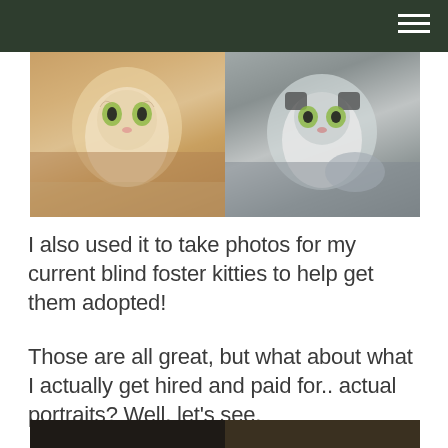[Figure (photo): Two cats side by side: left is an orange and white cat with green eyes looking at the camera, right is a black and white cat with green eyes also facing the camera]
I also used it to take photos for my current blind foster kitties to help get them adopted!
Those are all great, but what about what I actually get hired and paid for.. actual portraits? Well, let's see.
[Figure (photo): Two portrait photos partially visible at the bottom of the page]